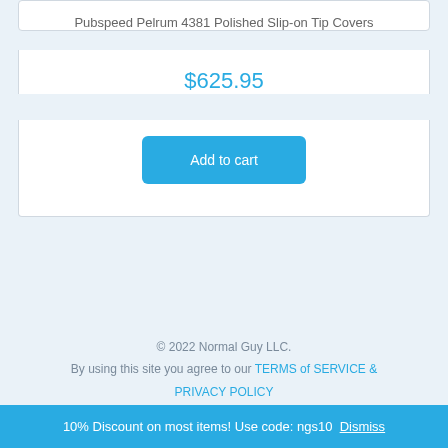Pubspeed Pelrum 4381 Polished Slip-on Tip Covers
$625.95
Add to cart
© 2022 Normal Guy LLC.
By using this site you agree to our TERMS of SERVICE & PRIVACY POLICY
10% Discount on most items! Use code: ngs10  Dismiss